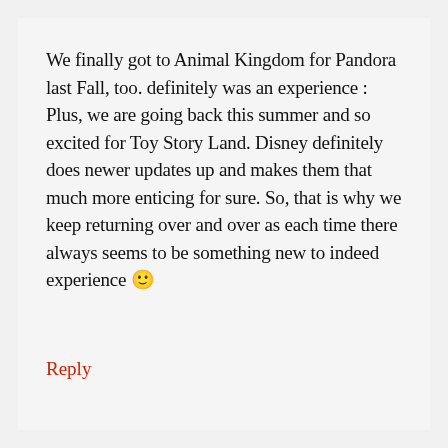We finally got to Animal Kingdom for Pandora last Fall, too. definitely was an experience : Plus, we are going back this summer and so excited for Toy Story Land. Disney definitely does newer updates up and makes them that much more enticing for sure. So, that is why we keep returning over and over as each time there always seems to be something new to indeed experience 🙂
Reply